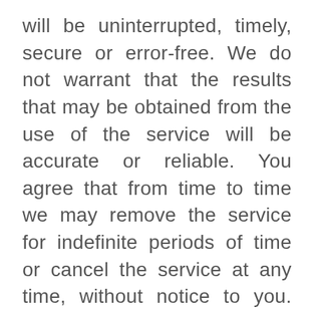will be uninterrupted, timely, secure or error-free. We do not warrant that the results that may be obtained from the use of the service will be accurate or reliable. You agree that from time to time we may remove the service for indefinite periods of time or cancel the service at any time, without notice to you. You expressly agree that your use of, or inability to use, the service is at your sole risk. The service and all products and services delivered to you through the service are (except as